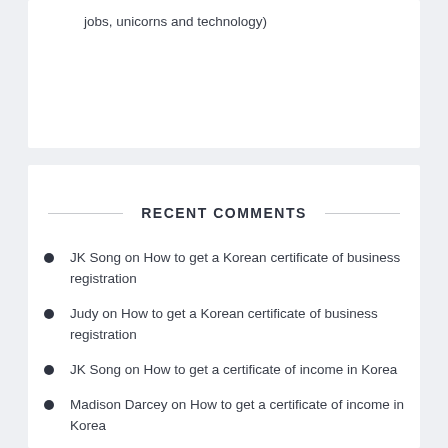jobs, unicorns and technology)
RECENT COMMENTS
JK Song on How to get a Korean certificate of business registration
Judy on How to get a Korean certificate of business registration
JK Song on How to get a certificate of income in Korea
Madison Darcey on How to get a certificate of income in Korea